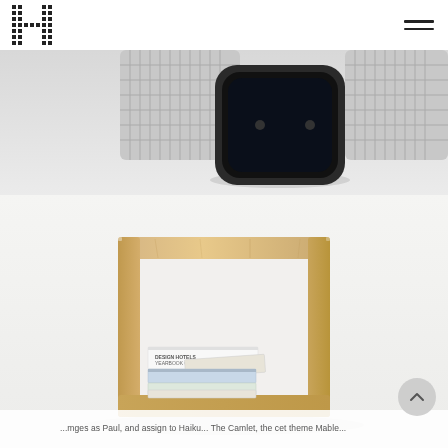[Figure (logo): Pixelated H logo mark in black dots grid pattern]
[Figure (photo): Close-up photo of a smartwatch (Apple Watch style) with dark screen and silver mesh band on a light grey surface]
[Figure (photo): A square open wooden frame (light oak) sitting on a white surface, with several small magazines/books stacked inside at the bottom, including one labeled 'DESIGN HOTELS YEARBOOK 09']
...mges as Paul, and assign to Haiku... The Camlet, the cet theme...